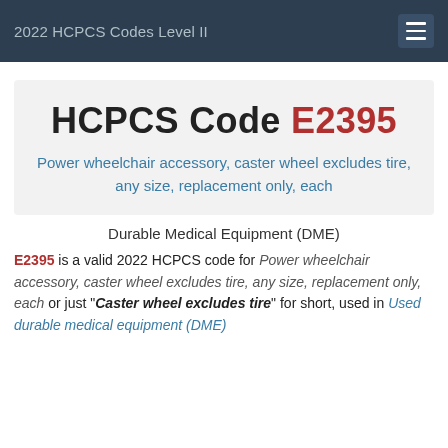2022 HCPCS Codes Level II
HCPCS Code E2395
Power wheelchair accessory, caster wheel excludes tire, any size, replacement only, each
Durable Medical Equipment (DME)
E2395 is a valid 2022 HCPCS code for Power wheelchair accessory, caster wheel excludes tire, any size, replacement only, each or just "Caster wheel excludes tire" for short, used in Used durable medical equipment (DME)